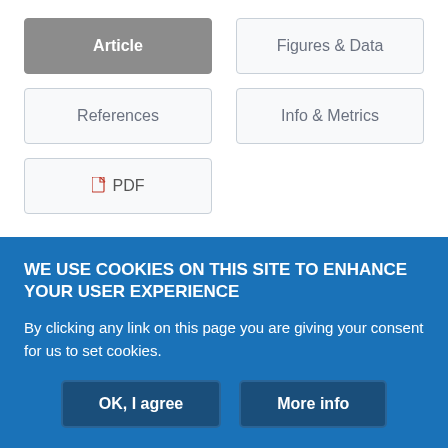Article
Figures & Data
References
Info & Metrics
PDF
Abstract
This article reviews currently available scientific literature related to
WE USE COOKIES ON THIS SITE TO ENHANCE YOUR USER EXPERIENCE
By clicking any link on this page you are giving your consent for us to set cookies.
OK, I agree
More info